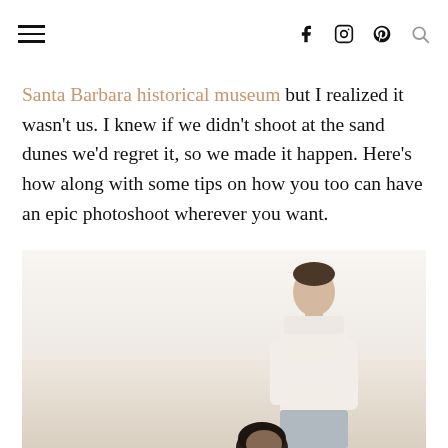[hamburger menu] [facebook] [instagram] [pinterest] [search]
Santa Barbara historical museum but I realized it wasn't us. I knew if we didn't shoot at the sand dunes we'd regret it, so we made it happen. Here's how along with some tips on how you too can have an epic photoshoot wherever you want.
[Figure (photo): A couple standing outdoors in a bright, washed-out sandy environment. A man in a light pink shirt is visible from the waist up in the right-center of the frame, and a woman with dark hair is partially visible at the bottom. The background is pale and hazy, evoking sand dunes.]